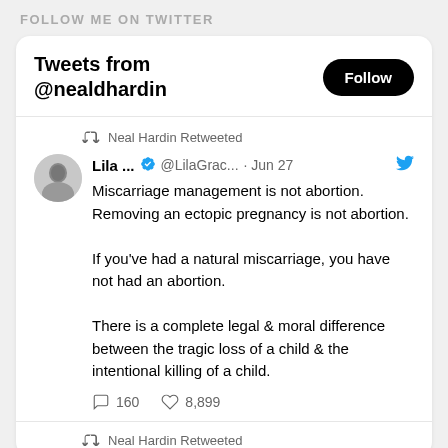FOLLOW ME ON TWITTER
Tweets from @nealdhardin
Neal Hardin Retweeted
[Figure (photo): Profile photo of Lila, black and white portrait]
Lila ... @LilaGrac... · Jun 27
Miscarriage management is not abortion.
Removing an ectopic pregnancy is not abortion.

If you've had a natural miscarriage, you have not had an abortion.

There is a complete legal & moral difference between the tragic loss of a child & the intentional killing of a child.
160  8,899
Neal Hardin Retweeted